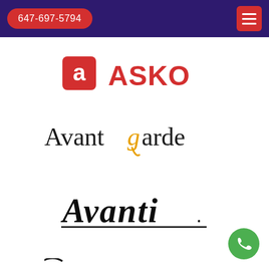647-697-5794
[Figure (logo): ASKO brand logo — red square icon with white 'a' letter followed by bold red ASKO text]
[Figure (logo): Avantgarde brand logo — serif text with golden italic 'g']
[Figure (logo): Avanti brand logo in italic script with underline]
[Figure (logo): Bauknecht brand logo — partially visible at bottom of page]